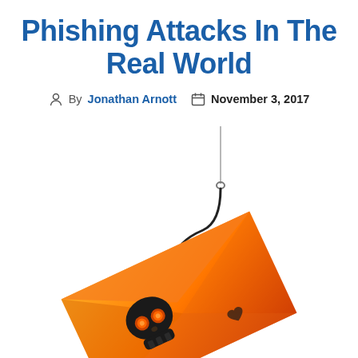Phishing Attacks In The Real World
By Jonathan Arnott  November 3, 2017
[Figure (illustration): An orange envelope with a skull and crossbones design, hooked on a fishing hook suspended from above — symbolizing phishing attacks.]